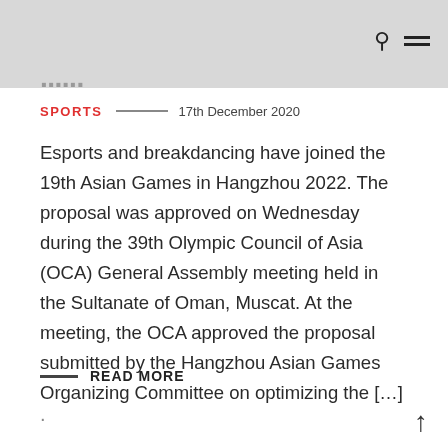SPORTS — 17th December 2020
Esports and breakdancing have joined the 19th Asian Games in Hangzhou 2022. The proposal was approved on Wednesday during the 39th Olympic Council of Asia (OCA) General Assembly meeting held in the Sultanate of Oman, Muscat. At the meeting, the OCA approved the proposal submitted by the Hangzhou Asian Games Organizing Committee on optimizing the [...]
READ MORE